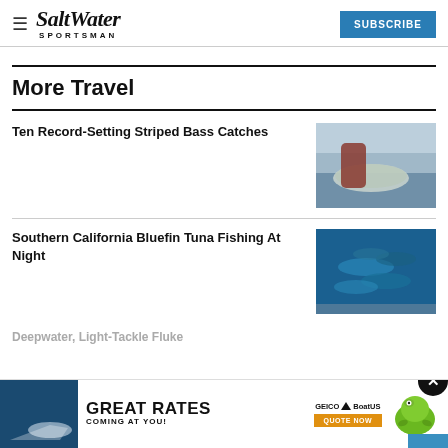Salt Water Sportsman — SUBSCRIBE
More Travel
Ten Record-Setting Striped Bass Catches
[Figure (photo): Person in red jacket holding a large striped bass fish on water]
Southern California Bluefin Tuna Fishing At Night
[Figure (photo): School of bluefin tuna underwater, blue tones]
Deepwater, Light-Tackle Fluke
[Figure (photo): Advertisement: Great Rates Coming At You! GEICO BoatUS Quote Now, with gecko mascot and boat image]